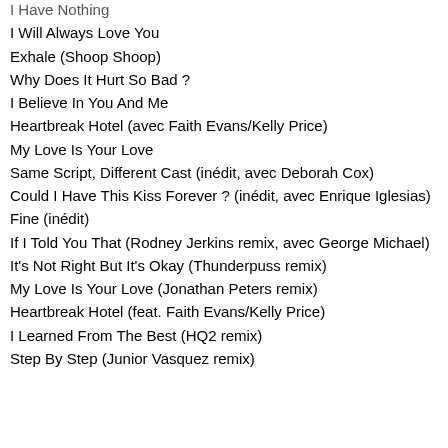I Have Nothing
I Will Always Love You
Exhale (Shoop Shoop)
Why Does It Hurt So Bad ?
I Believe In You And Me
Heartbreak Hotel (avec Faith Evans/Kelly Price)
My Love Is Your Love
Same Script, Different Cast (inédit, avec Deborah Cox)
Could I Have This Kiss Forever ? (inédit, avec Enrique Iglesias)
Fine (inédit)
If I Told You That (Rodney Jerkins remix, avec George Michael)
It's Not Right But It's Okay (Thunderpuss remix)
My Love Is Your Love (Jonathan Peters remix)
Heartbreak Hotel (feat. Faith Evans/Kelly Price)
I Learned From The Best (HQ2 remix)
Step By Step (Junior Vasquez remix)